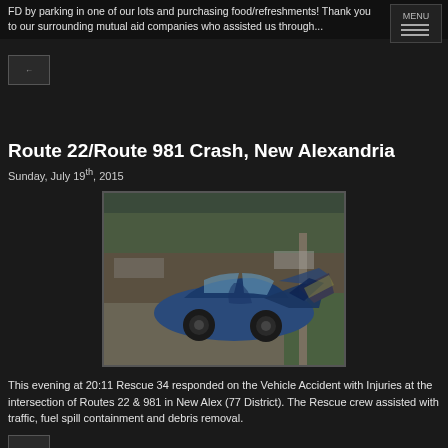FD by parking in one of our lots and purchasing food/refreshments! Thank you to our surrounding mutual aid companies who assisted us through...
[Figure (other): Menu button with three horizontal lines]
[Figure (other): Navigation button (small square)]
Route 22/Route 981 Crash, New Alexandria
Sunday, July 19th, 2015
[Figure (photo): Photo of a severely crashed blue car at the intersection, hood crumpled and front end destroyed, car is against a pole]
This evening at 20:11 Rescue 34 responded on the Vehicle Accident with Injuries at the intersection of Routes 22 & 981 in New Alex (77 District). The Rescue crew assisted with traffic, fuel spill containment and debris removal.
[Figure (other): Navigation button (small square)]
Busy Start to July